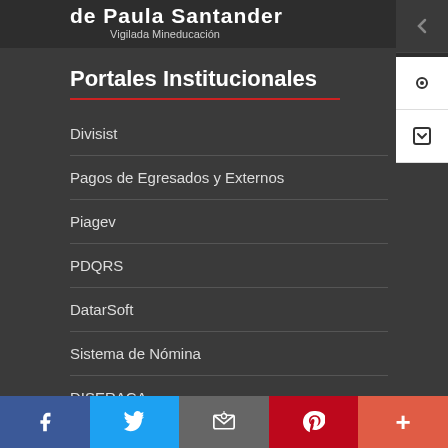de Paula Santander
Vigilada Mineducación
Portales Institucionales
Divisist
Pagos de Egresados y Externos
Piagev
PDQRS
DatarSoft
Sistema de Nómina
DISERACA
f  Twitter  Email  p  +